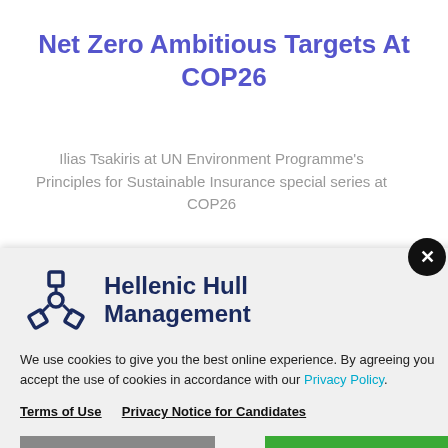Net Zero Ambitious Targets At COP26
Ilias Tsakiris at UN Environment Programme's Principles for Sustainable Insurance special series at COP26
[Figure (logo): Hellenic Hull Management logo with interconnected anchor/chain link icon in dark navy blue and bold text 'Hellenic Hull Management']
We use cookies to give you the best online experience. By agreeing you accept the use of cookies in accordance with our Privacy Policy.
Terms of Use   Privacy Notice for Candidates
MY PREFERENCES   I ACCEPT